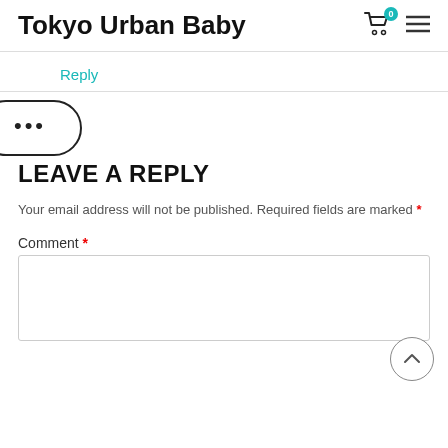Tokyo Urban Baby
Reply
LEAVE A REPLY
Your email address will not be published. Required fields are marked *
Comment *